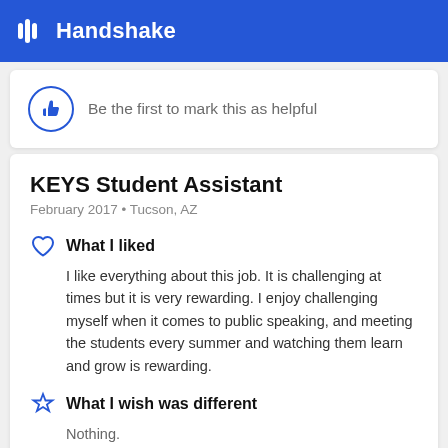Handshake
Be the first to mark this as helpful
KEYS Student Assistant
February 2017 • Tucson, AZ
What I liked
I like everything about this job. It is challenging at times but it is very rewarding. I enjoy challenging myself when it comes to public speaking, and meeting the students every summer and watching them learn and grow is rewarding.
What I wish was different
Nothing.